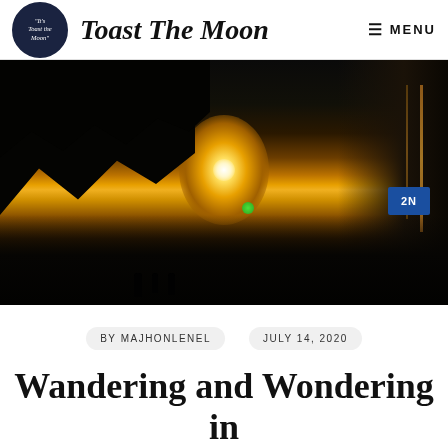Toast The Moon | MENU
[Figure (photo): Night cityscape with a glowing orange sunset between urban buildings and dark tree silhouettes in the foreground. Street lights and neon signs visible.]
BY MAJHONLENEL   JULY 14, 2020
Wandering and Wondering in